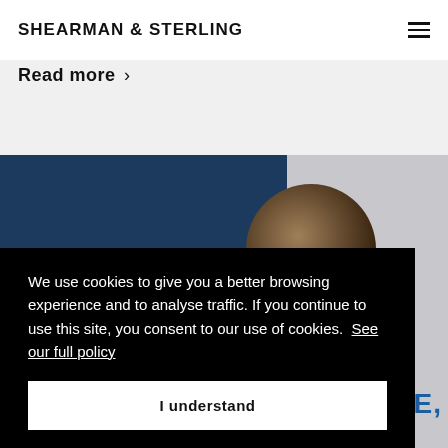SHEARMAN & STERLING
Read more >
[Figure (photo): Website screenshot showing a dark navy blue panel on the left and a gray/photo area on the right with a circular decorative image element. Partial view of a card or content block with blue text visible at bottom right.]
We use cookies to give you a better browsing experience and to analyse traffic. If you continue to use this site, you consent to our use of cookies. See our full policy
I understand